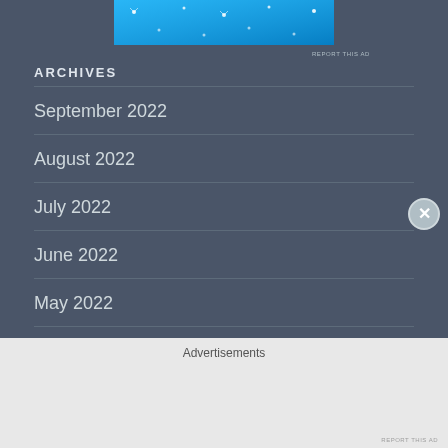[Figure (other): Blue advertisement banner with dots/sparkles]
REPORT THIS AD
ARCHIVES
September 2022
August 2022
July 2022
June 2022
May 2022
April 2022
March 2022
Advertisements
REPORT THIS AD